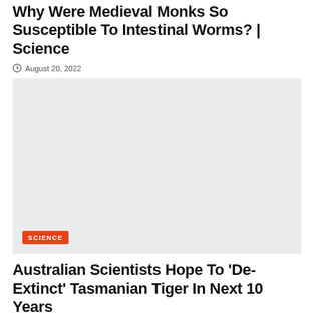Why Were Medieval Monks So Susceptible To Intestinal Worms? | Science
August 20, 2022
[Figure (photo): Large placeholder image with a SCIENCE category badge in the bottom-left corner. Background is light gray.]
Australian Scientists Hope To 'De-Extinct' Tasmanian Tiger In Next 10 Years